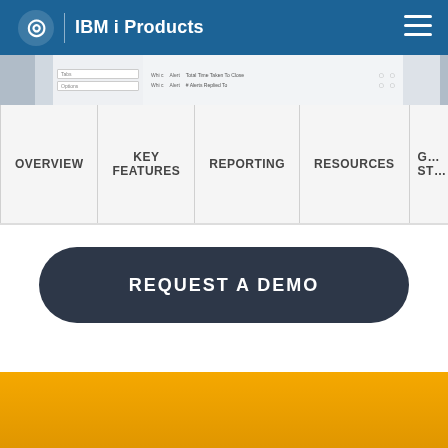IBM i Products
[Figure (screenshot): Screenshot strip showing a software UI with table rows and columns including headers like 'Alert' and 'Total Time Taken To Close']
OVERVIEW | KEY FEATURES | REPORTING | RESOURCES | G... ST...
REQUEST A DEMO
[Figure (other): Gold/yellow gradient footer band]